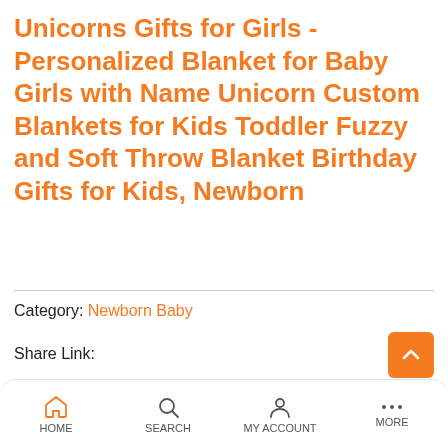Unicorns Gifts for Girls -Personalized Blanket for Baby Girls with Name Unicorn Custom Blankets for Kids Toddler Fuzzy and Soft Throw Blanket Birthday Gifts for Kids, Newborn
Category: Newborn Baby
Share Link:
$25.99
HOME  SEARCH  MY ACCOUNT  MORE